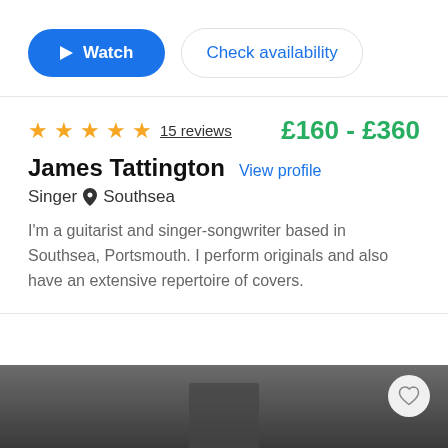[Figure (other): Watch and Check availability buttons row]
★★★★★ 15 reviews   £160 - £360
James Tattington  View profile
Singer  📍 Southsea
I'm a guitarist and singer-songwriter based in Southsea, Portsmouth. I perform originals and also have an extensive repertoire of covers.
[Figure (photo): Dark/black-and-white photo of a performer, partially visible at bottom of page, with a circular heart/favorite button in the upper right of the photo]